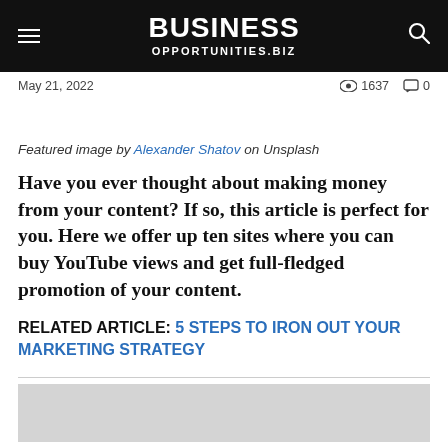BUSINESS OPPORTUNITIES.BIZ
May 21, 2022   1637   0
Featured image by Alexander Shatov on Unsplash
Have you ever thought about making money from your content? If so, this article is perfect for you. Here we offer up ten sites where you can buy YouTube views and get full-fledged promotion of your content.
RELATED ARTICLE: 5 STEPS TO IRON OUT YOUR MARKETING STRATEGY
[Figure (photo): Gray placeholder image at the bottom of the page]